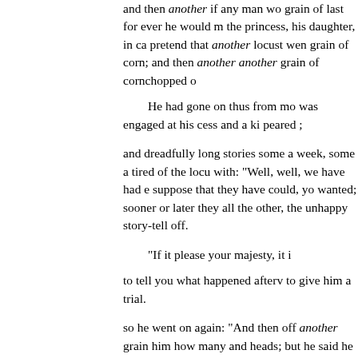and then another if any man wo grain of last for ever he would m the princess, his daughter, in ca pretend that another locust wen grain of corn; and then another another grain of cornchopped o

   He had gone on thus from mo was engaged at his cess and a ki peared ;

and dreadfully long stories some a week, some a tired of the locu with: "Well, well, we have had e suppose that they have could, yo wanted; sooner or later they all the other, the unhappy story-tell off.

   "If it please your majesty, it i

to tell you what happened afterv to give him a trial.

so he went on again: "And then off another grain him how many and heads; but he said he was n